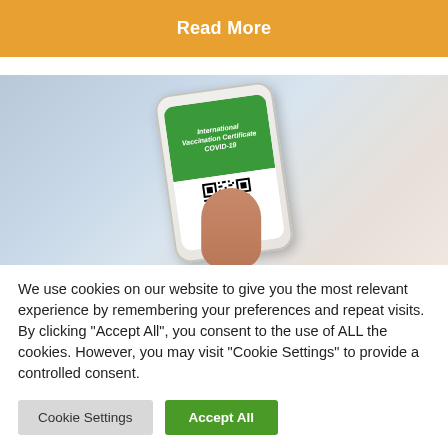Read More
[Figure (photo): A hand holding a white smartphone displaying an International Vaccination Certificate COVID-19 screen with a QR code and the text SCAN ME at the bottom.]
We use cookies on our website to give you the most relevant experience by remembering your preferences and repeat visits. By clicking "Accept All", you consent to the use of ALL the cookies. However, you may visit "Cookie Settings" to provide a controlled consent.
Cookie Settings | Accept All